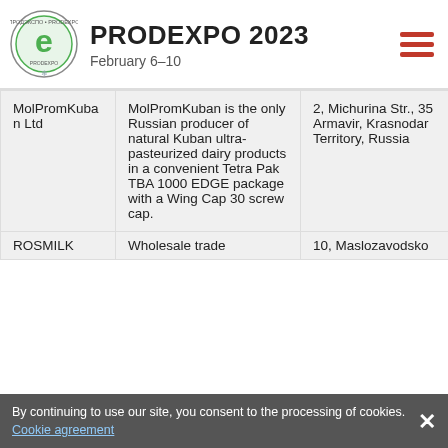[Figure (logo): Prodexpo circular green logo with letter e]
PRODEXPO 2023
February 6–10
|  |  |  |
| --- | --- | --- |
| MolPromKuban Ltd | MolPromKuban is the only Russian producer of natural Kuban ultra-pasteurized dairy products in a convenient Tetra Pak TBA 1000 EDGE package with a Wing Cap 30 screw cap. | 2, Michurina Str., 35 Armavir, Krasnodar Territory, Russia |
| ROSMILK | Wholesale trade | 10, Maslozavodsko |
By continuing to use our site, you consent to the processing of cookies. Cookie agreement